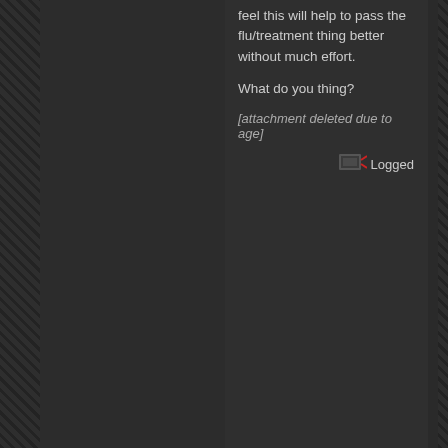feel this will help to pass the flu/treatment thing better without much effort.

What do you thing?

[attachment deleted due to age]
Logged
Tman615
Muffalo
Posts: 1
Refugee
Re: Your Cheapest Ideas
« Reply #2477 on: August 29, 2015, 08:52:50 AM »

A fence for animals. Works the same as a